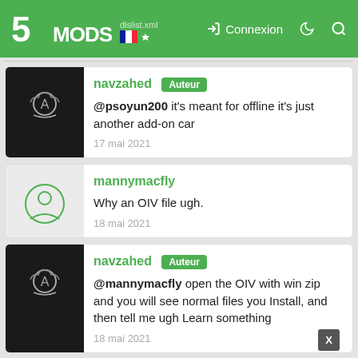5MODS — Connexion
navzahed Auteur
@psoyun200 it's meant for offline it's just another add-on car
17 mai 2021
mannymacfly
Why an OIV file ugh.
18 mai 2021
navzahed Auteur
@mannymacfly open the OIV with win zip and you will see normal files you Install, and then tell me ugh Learn something
18 mai 2021
NarimanE3D ★★★★★